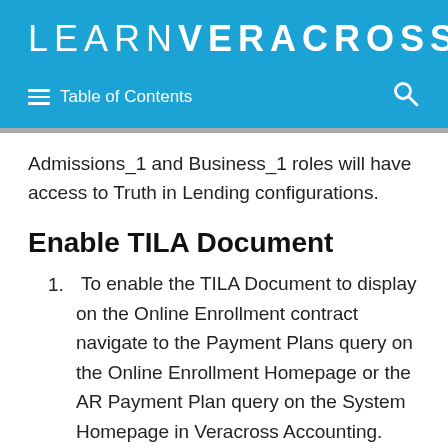LEARNVERACROSS
Table of Contents
Admissions_1 and Business_1 roles will have access to Truth in Lending configurations.
Enable TILA Document
To enable the TILA Document to display on the Online Enrollment contract navigate to the Payment Plans query on the Online Enrollment Homepage or the AR Payment Plan query on the System Homepage in Veracross Accounting.